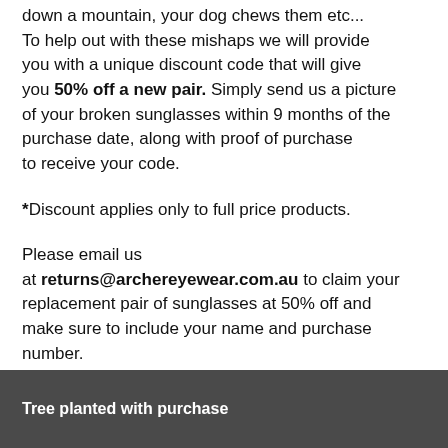down a mountain, your dog chews them etc... To help out with these mishaps we will provide you with a unique discount code that will give you 50% off a new pair. Simply send us a picture of your broken sunglasses within 9 months of the purchase date, along with proof of purchase to receive your code.
*Discount applies only to full price products.
Please email us at returns@archereyewear.com.au to claim your replacement pair of sunglasses at 50% off and make sure to include your name and purchase number.
Tree planted with purchase